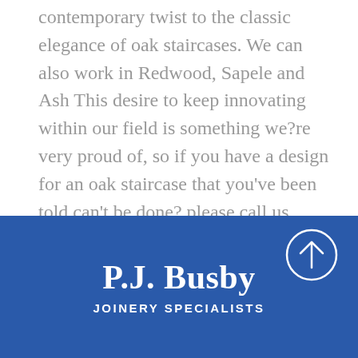contemporary twist to the classic elegance of oak staircases. We can also work in Redwood, Sapele and Ash This desire to keep innovating within our field is something we?re very proud of, so if you have a design for an oak staircase that you've been told can't be done? please call us today!
P.J. Busby
JOINERY SPECIALISTS